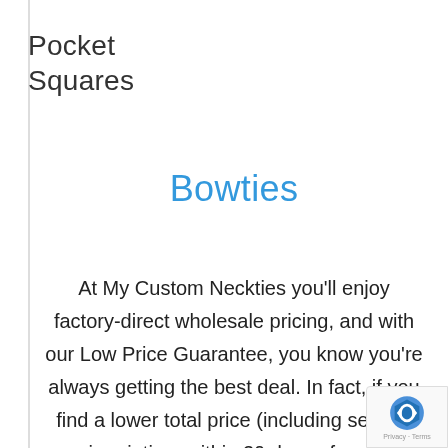Pocket Squares
Bowties
At My Custom Neckties you'll enjoy factory-direct wholesale pricing, and with our Low Price Guarantee, you know you're always getting the best deal. In fact, if you find a lower total price (including setups, imprinting, within 30 days of your purchase, we will gladly